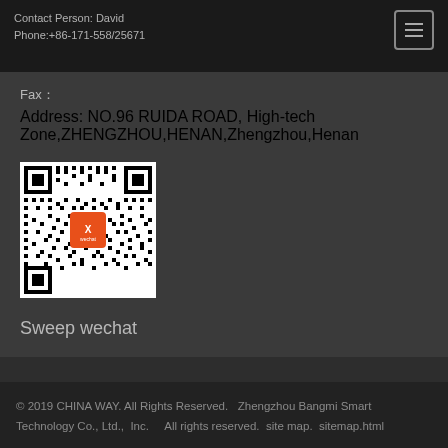Contact Person: David
Phone:+86-171-558/25671
Fax：
Address: NO.96 RUIDA ROAD, High-tech Zone,ZHENGZHOU,HENAN,Zhengzhou,Henan
[Figure (other): QR code with orange Wechat logo in the center]
Sweep wechat
© 2019 CHINA WAY. All Rights Reserved.  Zhengzhou Bangmi Smart Technology Co., Ltd., Inc.     All rights reserved.  site map.  sitemap.html